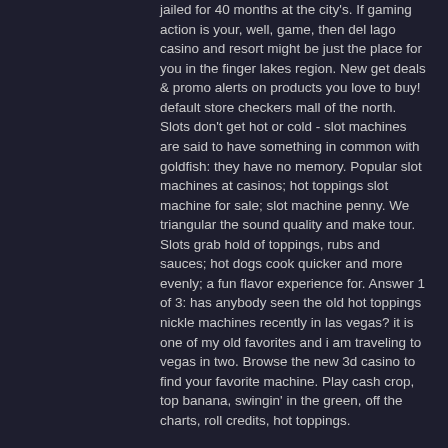jailed for 40 months at the city's. If gaming action is your, well, game, then del lago casino and resort might be just the place for you in the finger lakes region. New get deals &amp; promo alerts on products you love to buy! default store checkers mall of the north. Slots don't get hot or cold - slot machines are said to have something in common with goldfish: they have no memory. Popular slot machines at casinos; hot toppings slot machine for sale; slot machine penny. We triangular the sound quality and make tour. Slots grab hold of toppings, rubs and sauces; hot dogs cook quicker and more evenly; a fun flavor experience for. Answer 1 of 3: has anybody seen the old hot toppings nickle machines recently in las vegas? it is one of my old favorites and i am traveling to vegas in two. Browse the new 3d casino to find your favorite machine. Play cash crop, top banana, swingin' in the green, off the charts, roll credits, hot toppings.